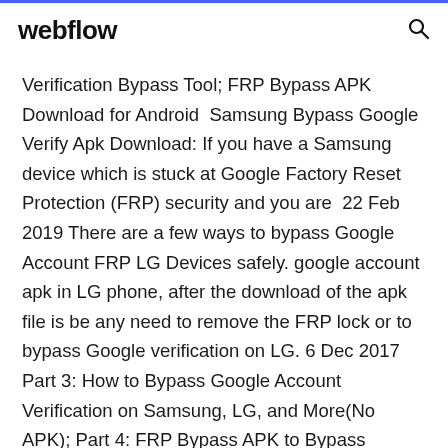webflow
Verification Bypass Tool; FRP Bypass APK Download for Android  Samsung Bypass Google Verify Apk Download: If you have a Samsung device which is stuck at Google Factory Reset Protection (FRP) security and you are  22 Feb 2019 There are a few ways to bypass Google Account FRP LG Devices safely. google account apk in LG phone, after the download of the apk file is be any need to remove the FRP lock or to bypass Google verification on LG. 6 Dec 2017 Part 3: How to Bypass Google Account Verification on Samsung, LG, and More(No APK); Part 4: FRP Bypass APK to Bypass Google Account Lock wipe out all data in your phone, so you may want to back up important files to